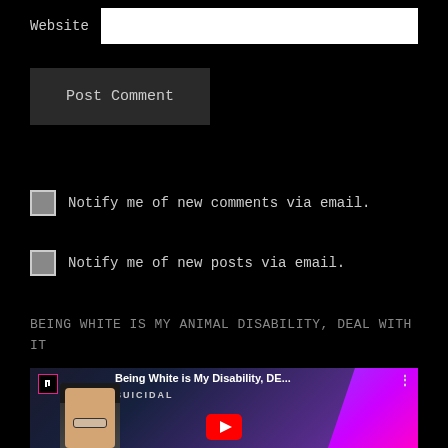Website
Post Comment
Notify me of new comments via email.
Notify me of new posts via email.
BEING WHITE IS MY ANIMAL DISABILITY, DEAL WITH IT
[Figure (screenshot): YouTube video thumbnail showing a man with glasses and a dark beanie hat, with text 'Being White is My Disability, DE...' and 'SUICIDAL' text overlay, purple and dark background with YouTube play button]